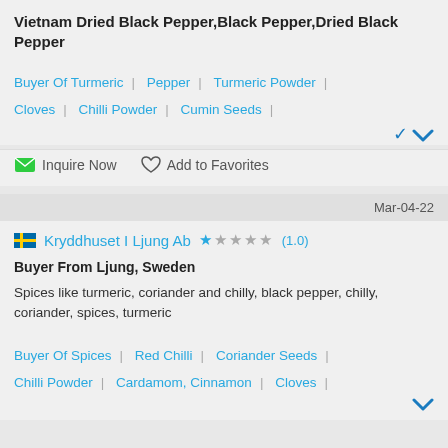Vietnam Dried Black Pepper,Black Pepper,Dried Black Pepper
Buyer Of Turmeric | Pepper | Turmeric Powder | Cloves | Chilli Powder | Cumin Seeds |
Inquire Now   Add to Favorites
Mar-04-22
Kryddhuset I Ljung Ab ★☆☆☆☆ (1.0)
Buyer From Ljung, Sweden
Spices like turmeric, coriander and chilly, black pepper, chilly, coriander, spices, turmeric
Buyer Of Spices | Red Chilli | Coriander Seeds | Chilli Powder | Cardamom, Cinnamon | Cloves |